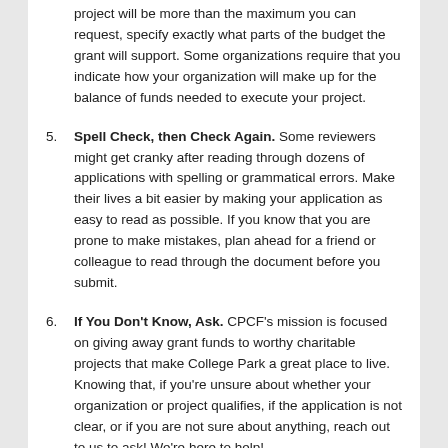project will be more than the maximum you can request, specify exactly what parts of the budget the grant will support. Some organizations require that you indicate how your organization will make up for the balance of funds needed to execute your project.
5. Spell Check, then Check Again. Some reviewers might get cranky after reading through dozens of applications with spelling or grammatical errors. Make their lives a bit easier by making your application as easy to read as possible. If you know that you are prone to make mistakes, plan ahead for a friend or colleague to read through the document before you submit.
6. If You Don't Know, Ask. CPCF's mission is focused on giving away grant funds to worthy charitable projects that make College Park a great place to live. Knowing that, if you're unsure about whether your organization or project qualifies, if the application is not clear, or if you are not sure about anything, reach out to us to ask! We're here to help!